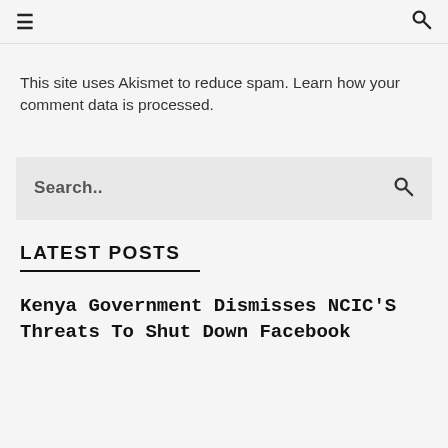≡  🔍
This site uses Akismet to reduce spam. Learn how your comment data is processed.
Search..
LATEST POSTS
Kenya Government Dismisses NCIC'S Threats To Shut Down Facebook